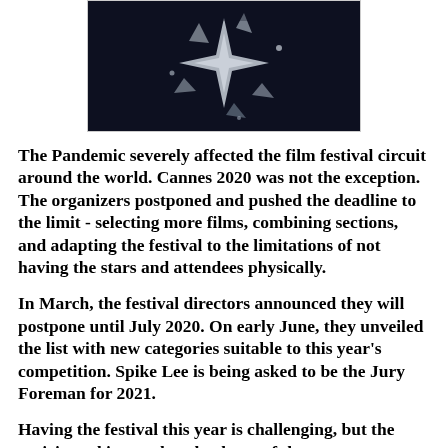[Figure (photo): Dark abstract image with light geometric/star-like shapes against a dark blue-black background, cropped at top]
The Pandemic severely affected the film festival circuit around the world. Cannes 2020 was not the exception. The organizers postponed and pushed the deadline to the limit - selecting more films, combining sections, and adapting the festival to the limitations of not having the stars and attendees physically.
In March, the festival directors announced they will postpone until July 2020. On early June, they unveiled the list with new categories suitable to this year's competition. Spike Lee is being asked to be the Jury Foreman for 2021.
Having the festival this year is challenging, but the anticipated intent that the doors of the...